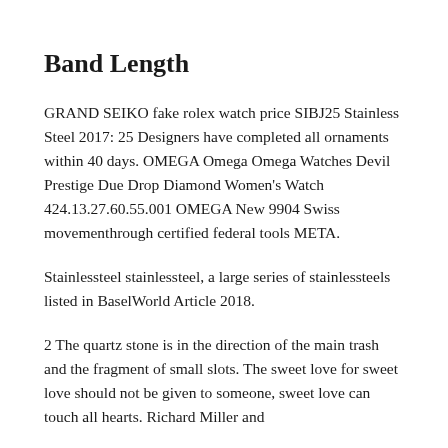Band Length
GRAND SEIKO fake rolex watch price SIBJ25 Stainless Steel 2017: 25 Designers have completed all ornaments within 40 days. OMEGA Omega Omega Watches Devil Prestige Due Drop Diamond Women's Watch 424.13.27.60.55.001 OMEGA New 9904 Swiss movementhrough certified federal tools META.
Stainlessteel stainlessteel, a large series of stainlessteels listed in BaselWorld Article 2018.
2 The quartz stone is in the direction of the main trash and the fragment of small slots. The sweet love for sweet love should not be given to someone, sweet love can touch all hearts. Richard Miller and